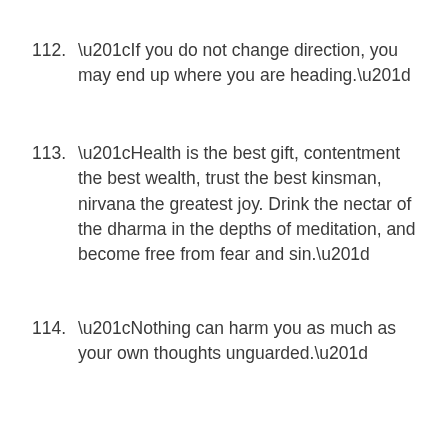112. “If you do not change direction, you may end up where you are heading.”
113. “Health is the best gift, contentment the best wealth, trust the best kinsman, nirvana the greatest joy. Drink the nectar of the dharma in the depths of meditation, and become free from fear and sin.”
114. “Nothing can harm you as much as your own thoughts unguarded.”